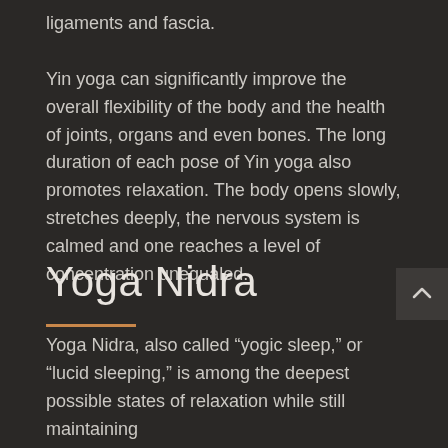access, clean and nourish connective tissue, ligaments and fascia. Yin yoga can significantly improve the overall flexibility of the body and the health of joints, organs and even bones. The long duration of each pose of Yin yoga also promotes relaxation. The body opens slowly, stretches deeply, the nervous system is calmed and one reaches a level of concentration unequaled.
Yoga Nidra
Yoga Nidra, also called “yogic sleep,” or “lucid sleeping,” is among the deepest possible states of relaxation while still maintaining